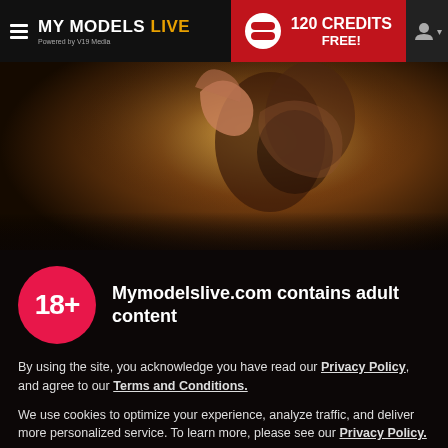MY MODELS LIVE — 120 CREDITS FREE!
[Figure (photo): Background photo of a young woman in a dimly lit room, warm amber/brown tones, artistic pose with hand raised]
Mymodelslive.com contains adult content
By using the site, you acknowledge you have read our Privacy Policy, and agree to our Terms and Conditions.
We use cookies to optimize your experience, analyze traffic, and deliver more personalized service. To learn more, please see our Privacy Policy.
I AGREE